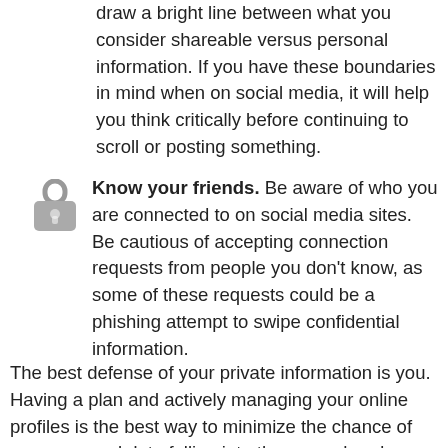draw a bright line between what you consider shareable versus personal information. If you have these boundaries in mind when on social media, it will help you think critically before continuing to scroll or posting something.
Know your friends. Be aware of who you are connected to on social media sites. Be cautious of accepting connection requests from people you don't know, as some of these requests could be a phishing attempt to swipe confidential information.
The best defense of your private information is you. Having a plan and actively managing your online profiles is the best way to minimize the chance of your personal data falling into the wrong hands.